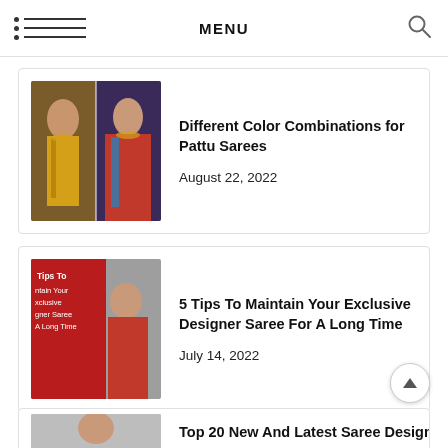MENU
[Figure (screenshot): Article card: Two women wearing traditional Indian sarees. Left woman in gold saree, right in blue and red.]
Different Color Combinations for Pattu Sarees
August 22, 2022
[Figure (screenshot): Article card showing a woman in red saree with overlaid text: Tips To Maintain Your Exclusive Designer Saree A Long Time]
5 Tips To Maintain Your Exclusive Designer Saree For A Long Time
July 14, 2022
Top 20 New And Latest Saree Designs